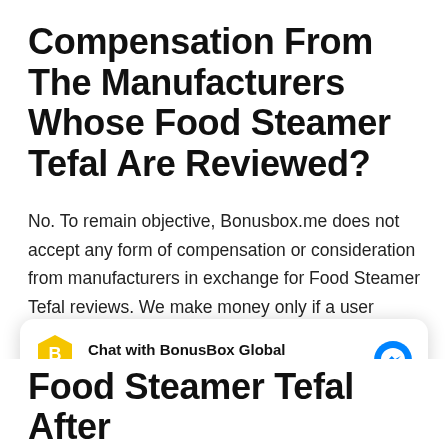Compensation From The Manufacturers Whose Food Steamer Tefal Are Reviewed?
No. To remain objective, Bonusbox.me does not accept any form of compensation or consideration from manufacturers in exchange for Food Steamer Tefal reviews. We make money only if a user clicks through to a vendor and makes a purchase.
[Figure (screenshot): Chat widget showing 'Chat with BonusBox Global' with a yellow hexagon icon, BonusBox brand label, and messenger icon. Subtitle reads 'Hi Amazon Sellers! How can we help you?']
Food Steamer Tefal After